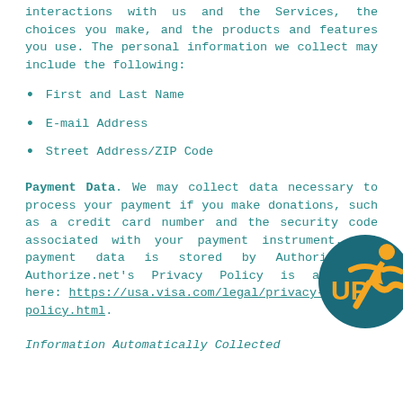interactions with us and the Services, the choices you make, and the products and features you use. The personal information we collect may include the following:
First and Last Name
E-mail Address
Street Address/ZIP Code
Payment Data. We may collect data necessary to process your payment if you make donations, such as a credit card number and the security code associated with your payment instrument. All payment data is stored by Authorize.net. Authorize.net's Privacy Policy is available here: https://usa.visa.com/legal/privacy-policy.html.
Information Automatically Collected